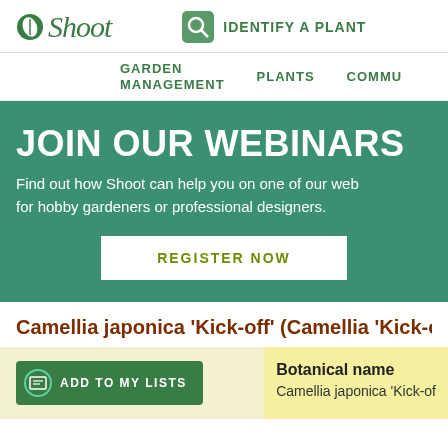shoot | IDENTIFY A PLANT
GARDEN MANAGEMENT   PLANTS   COMMU...
[Figure (screenshot): Green banner promoting webinars with title JOIN OUR WEBINARS, subtitle text, and a REGISTER NOW button]
Camellia japonica 'Kick-off' (Camellia 'Kick-off'
ADD TO MY LISTS
Botanical name
Camellia japonica 'Kick-of'